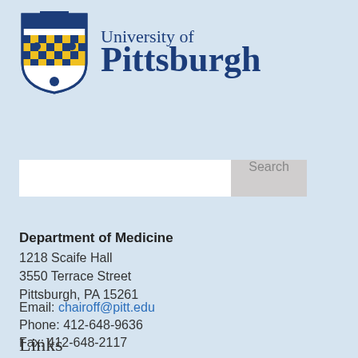[Figure (logo): University of Pittsburgh logo: shield with blue and gold checkered pattern, crown at top, three dots on sides and bottom, accompanied by text 'University of Pittsburgh' in navy blue serif font]
[Figure (screenshot): Search input box with white text field and grey Search button]
Department of Medicine
1218 Scaife Hall
3550 Terrace Street
Pittsburgh, PA 15261
Email: chairoff@pitt.edu
Phone: 412-648-9636
Fax: 412-648-2117
Links